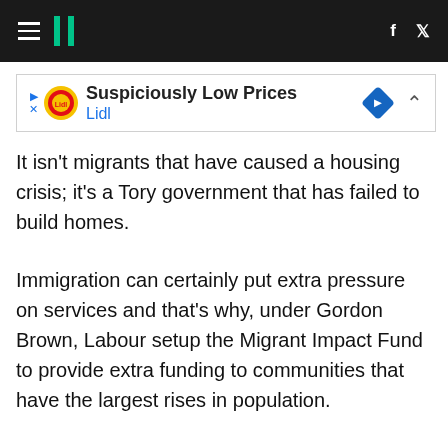HuffPost
[Figure (other): Lidl advertisement banner: 'Suspiciously Low Prices — Lidl' with Lidl circular logo and navigation arrow icon]
It isn't migrants that have caused a housing crisis; it's a Tory government that has failed to build homes.
Immigration can certainly put extra pressure on services and that's why, under Gordon Brown, Labour setup the Migrant Impact Fund to provide extra funding to communities that have the largest rises in population.
What did the Tories do? They abolished it and then they demonise migrants for putting pressure